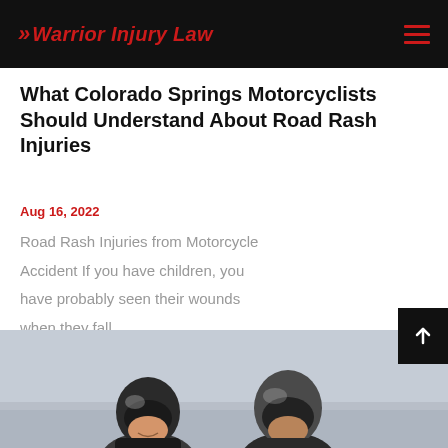Warrior Injury Law
What Colorado Springs Motorcyclists Should Understand About Road Rash Injuries
Aug 16, 2022
Road Rash Injuries from Motorcycle Accident If you have children, you have probably seen their wounds when they fall...
[Figure (photo): Two motorcyclists wearing helmets, cropped at bottom of page]